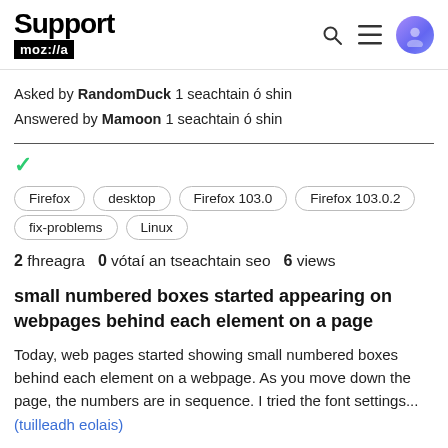Support mozilla//a
Asked by RandomDuck 1 seachtain ó shin
Answered by Mamoon 1 seachtain ó shin
Firefox
desktop
Firefox 103.0
Firefox 103.0.2
fix-problems
Linux
2 fhreagra   0 vótaí an tseachtain seo   6 views
small numbered boxes started appearing on webpages behind each element on a page
Today, web pages started showing small numbered boxes behind each element on a webpage. As you move down the page, the numbers are in sequence. I tried the font settings... (tuilleadh eolais)